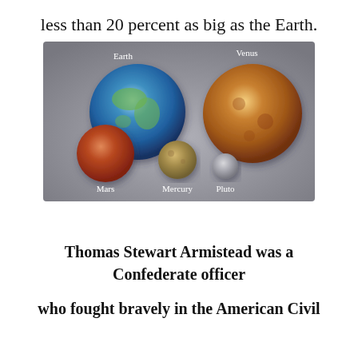less than 20 percent as big as the Earth.
[Figure (illustration): Comparative size illustration of planets and dwarf planet: Earth (large blue planet with continents), Venus (large orange-brown planet), Mars (medium reddish-brown planet), Mercury (small tan/gold planet), and Pluto (small grey body). Each is labeled with its name below or above.]
Thomas Stewart Armistead was a Confederate officer
who fought bravely in the American Civil